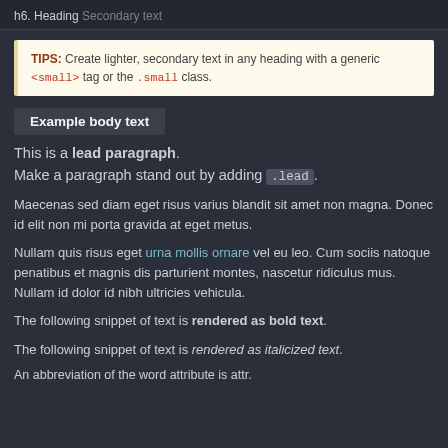h6. Heading Secondary text
TIPS: Create lighter, secondary text in any heading with a generic <small> tag or the .small class.
Example body text
This is a lead paragraph. Make a paragraph stand out by adding .lead .
Maecenas sed diam eget risus varius blandit sit amet non magna. Donec id elit non mi porta gravida at eget metus.
Nullam quis risus eget urna mollis ornare vel eu leo. Cum sociis natoque penatibus et magnis dis parturient montes, nascetur ridiculus mus. Nullam id dolor id nibh ultricies vehicula.
The following snippet of text is rendered as bold text.
The following snippet of text is rendered as italicized text.
An abbreviation of the word attribute is attr.